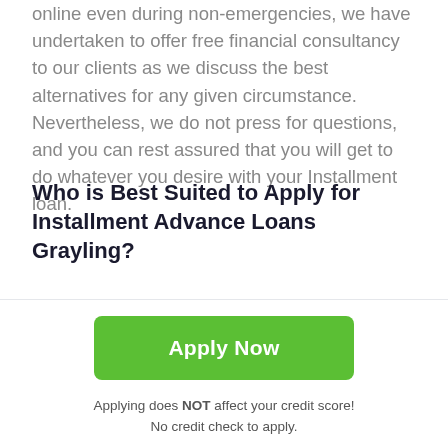online even during non-emergencies, we have undertaken to offer free financial consultancy to our clients as we discuss the best alternatives for any given circumstance. Nevertheless, we do not press for questions, and you can rest assured that you will get to do whatever you desire with your Installment loan.
Who is Best Suited to Apply for Installment Advance Loans Grayling?
The biggest percentage of clients who approach us seek Installment loans online Grayling no credit check. Even though we assess individual clients' creditworthiness, do not consider bad credit as a hindrance for you to access
[Figure (other): Scroll-to-top arrow button, grey rounded square with white upward arrow]
Apply Now
Applying does NOT affect your credit score!
No credit check to apply.